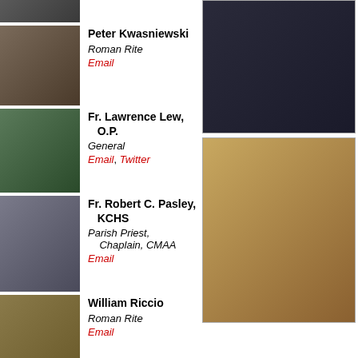[Figure (photo): Partial photo of a person at top left]
Peter Kwasniewski
Roman Rite
Email
Fr. Lawrence Lew, O.P.
General
Email, Twitter
Fr. Robert C. Pasley, KCHS
Parish Priest, Chaplain, CMAA
Email
William Riccio
Roman Rite
Email
Henri Adam de Villiers
General
Email
correspondents
[Figure (photo): Photo on right side top - person in dark clothing]
[Figure (photo): Photo on right side bottom - ornate church altar]